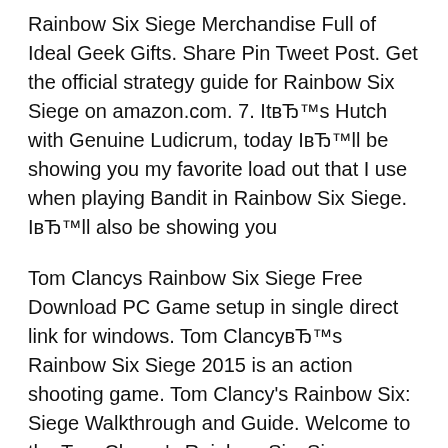Rainbow Six Siege Merchandise Full of Ideal Geek Gifts. Share Pin Tweet Post. Get the official strategy guide for Rainbow Six Siege on amazon.com. 7. ItвЂ™s Hutch with Genuine Ludicrum, today IвЂ™ll be showing you my favorite load out that I use when playing Bandit in Rainbow Six Siege. IвЂ™ll also be showing you
Tom Clancys Rainbow Six Siege Free Download PC Game setup in single direct link for windows. Tom ClancyвЂ™s Rainbow Six Siege 2015 is an action shooting game. Tom Clancy's Rainbow Six: Siege Walkthrough and Guide. Welcome to the Tom Clancy's Rainbow Six: Siege Walkthrough where our team of contributors will help you work